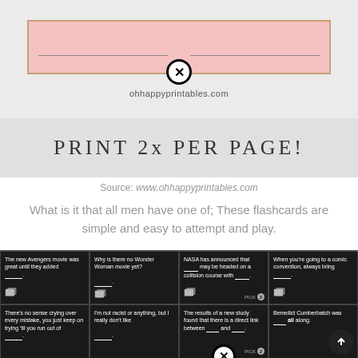[Figure (screenshot): Pink card design with X close button and ohhappyprintables.com URL below]
PRINT 2x PER PAGE!
Source: www.ohhappyprintables.com
What is it that all men have one of; These flashcards are simple and easy to attempt and play.
[Figure (screenshot): Grid of 8 black cards against dark background with white fill-in-the-blank text]